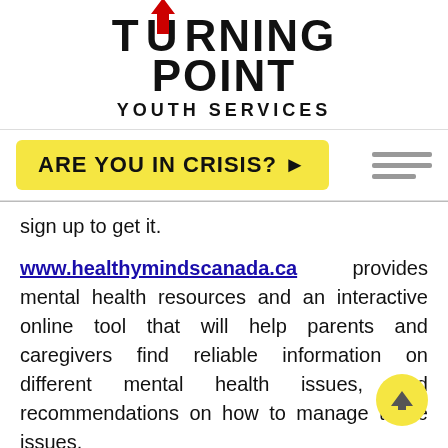[Figure (logo): Turning Point Youth Services logo with red arrow through the U in TURNING, bold black text TURNING POINT, and YOUTH SERVICES below]
[Figure (other): Yellow button reading ARE YOU IN CRISIS? with right-pointing triangle, and hamburger menu icon to the right]
sign up to get it.
www.healthymindscanada.ca provides mental health resources and an interactive online tool that will help parents and caregivers find reliable information on different mental health issues, and recommendations on how to manage those issues.